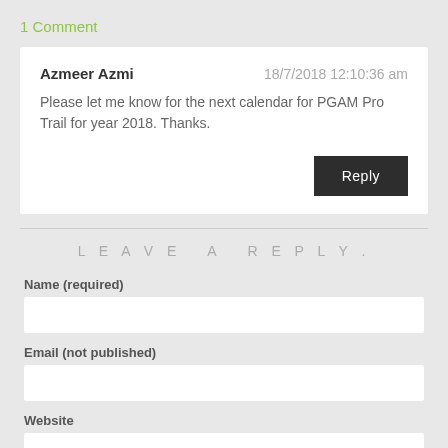1 Comment
Azmeer Azmi   18/7/2018 12:10:36 am
Please let me know for the next calendar for PGAM Pro Trail for year 2018. Thanks.
LEAVE A REPLY.
Name (required)
Email (not published)
Website